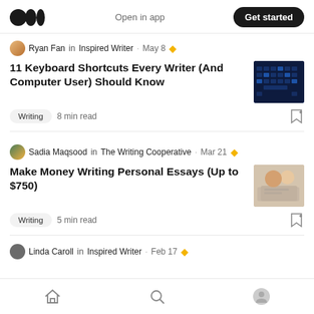Medium logo | Open in app | Get started
Ryan Fan in Inspired Writer · May 8 ★
11 Keyboard Shortcuts Every Writer (And Computer User) Should Know
Writing  8 min read
Sadia Maqsood in The Writing Cooperative · Mar 21 ★
Make Money Writing Personal Essays (Up to $750)
Writing  5 min read
Linda Caroll in Inspired Writer · Feb 17 ★